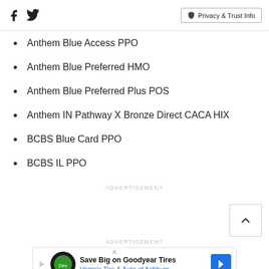Facebook | Twitter | Privacy & Trust Info
Anthem Blue Access PPO
Anthem Blue Preferred HMO
Anthem Blue Preferred Plus POS
Anthem IN Pathway X Bronze Direct CACA HIX
BCBS Blue Card PPO
BCBS IL PPO
ADVERTISEMENT
ADVERTISEMENT
[Figure (other): Advertisement banner: Save Big on Goodyear Tires - Virginia Tire & Auto of Ashburn.]